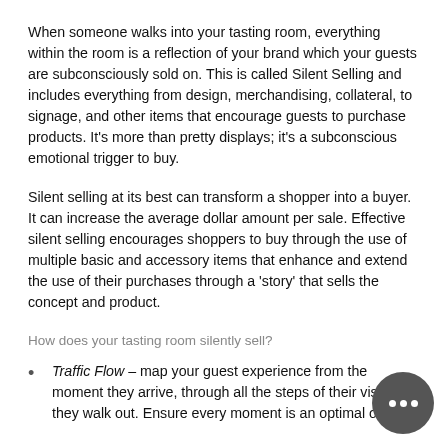When someone walks into your tasting room, everything within the room is a reflection of your brand which your guests are subconsciously sold on. This is called Silent Selling and includes everything from design, merchandising, collateral, to signage, and other items that encourage guests to purchase products. It's more than pretty displays; it's a subconscious emotional trigger to buy.
Silent selling at its best can transform a shopper into a buyer. It can increase the average dollar amount per sale. Effective silent selling encourages shoppers to buy through the use of multiple basic and accessory items that enhance and extend the use of their purchases through a 'story' that sells the concept and product.
How does your tasting room silently sell?
Traffic Flow – map your guest experience from the moment they arrive, through all the steps of their visit until they walk out. Ensure every moment is an optimal one.